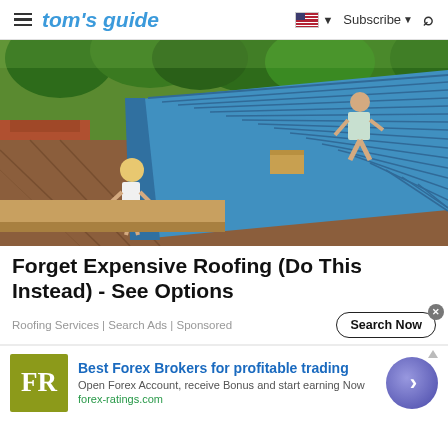tom's guide | Subscribe | Search
[Figure (photo): Workers installing a blue metal roof on a building, with green trees in the background. Two workers visible, one crouching on the roof, one standing at the edge with a yellow hat.]
Forget Expensive Roofing (Do This Instead) - See Options
Roofing Services | Search Ads | Sponsored
Search Now
[Figure (logo): FR logo on olive/yellow-green background]
Best Forex Brokers for profitable trading
Open Forex Account, receive Bonus and start earning Now
forex-ratings.com